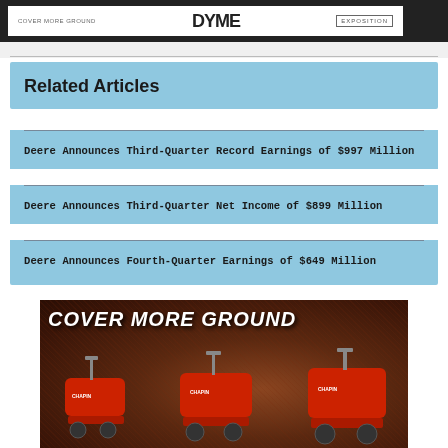COVER MORE GROUND | [BRAND LOGO] | EXPOSITION
Related Articles
Deere Announces Third-Quarter Record Earnings of $997 Million
Deere Announces Third-Quarter Net Income of $899 Million
Deere Announces Fourth-Quarter Earnings of $649 Million
[Figure (photo): Advertisement banner showing 'COVER MORE GROUND' text in large italic white letters over an image of three red Chapin spreader machines against a dark background.]